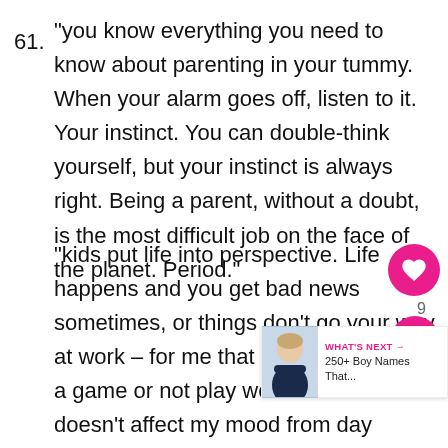61. “you know everything you need to know about parenting in your tummy. When your alarm goes off, listen to it. Your instinct. You can double-think yourself, but your instinct is always right. Being a parent, without a doubt, is the most difficult job on the face of the planet. Period.”
62. “kids put life into perspective. Life happens and you get bad news sometimes, or things don’t go your way at work – for me that might mean I lose a game or not play well – but that doesn’t affect my mood from day to day. I love going home and seeing the smiles on